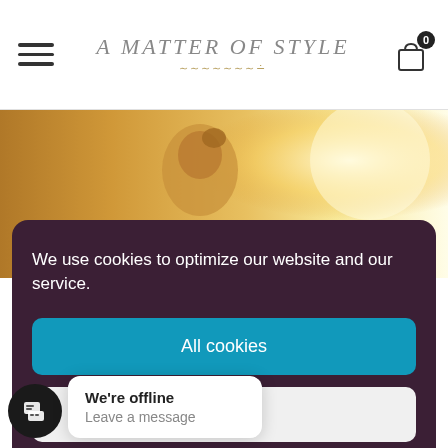A Matter of Style
[Figure (photo): Hero image of a person with backlit golden sunlight, warm tones]
We use cookies to optimize our website and our service.
All cookies
Deny
View preferences
We're offline
Leave a message